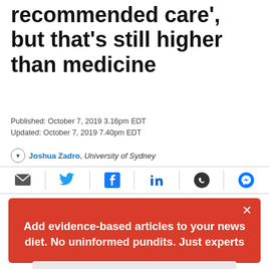recommended care', but that's still higher than medicine
Published: October 7, 2019 3.16pm EDT
Updated: October 7, 2019 7.40pm EDT
Joshua Zadro, University of Sydney
[Figure (infographic): Social share bar with icons for email, Twitter, Facebook, LinkedIn, WhatsApp, and Messenger]
[Figure (infographic): Red popup overlay with text: Add evidence-based articles to your news diet. No uninformed pundits. Just experts. And a button: Get our newsletters]